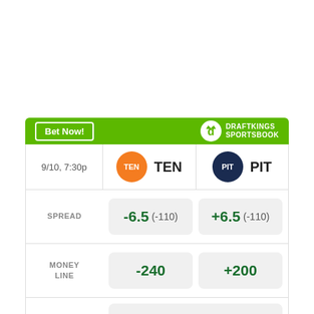|  | TEN | PIT |
| --- | --- | --- |
| 9/10, 7:30p | TEN | PIT |
| SPREAD | -6.5 (-110) | +6.5 (-110) |
| MONEY LINE | -240 | +200 |
| OVER UNDER | > 65.5 (-120) | < 65.5 (+100) |
Odds/Lines subject to change. See draftkings.com for details.